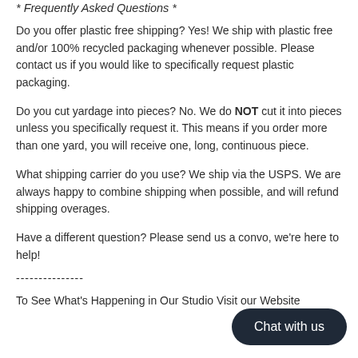* Frequently Asked Questions *
Do you offer plastic free shipping? Yes! We ship with plastic free and/or 100% recycled packaging whenever possible. Please contact us if you would like to specifically request plastic packaging.
Do you cut yardage into pieces? No. We do NOT cut it into pieces unless you specifically request it. This means if you order more than one yard, you will receive one, long, continuous piece.
What shipping carrier do you use? We ship via the USPS. We are always happy to combine shipping when possible, and will refund shipping overages.
Have a different question? Please send us a convo, we're here to help!
---------------
To See What's Happening in Our Studio Visit our Website